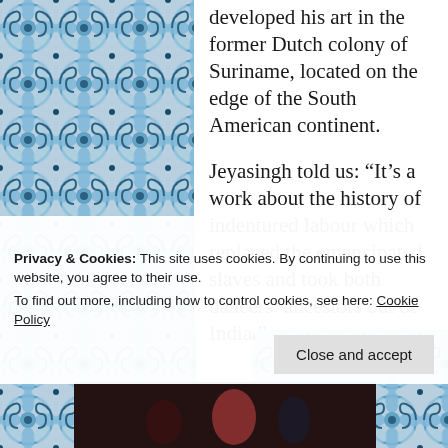[Figure (illustration): Decorative blue and white Moorish/Portuguese tile pattern on left and right sides of the page]
developed his art in the former Dutch colony of Suriname, located on the edge of the South American continent.
Jeyasingh told us: “It’s a work about the history of indentured labour which replaced the emancipated slaves and took both dancers’ ancestors out of India.”
Privacy & Cookies: This site uses cookies. By continuing to use this website, you agree to their use.
To find out more, including how to control cookies, see here: Cookie Policy
[Figure (photo): Dark performance photo strip at the bottom of the page showing dancers]